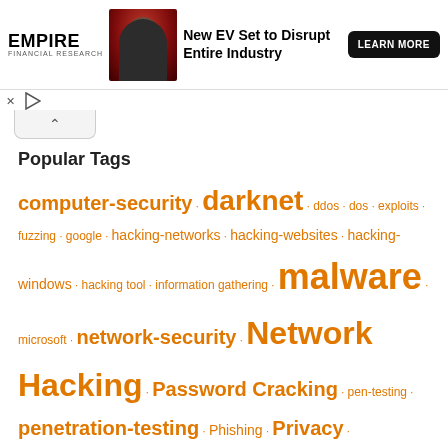[Figure (infographic): Advertisement banner for Empire Financial Research featuring a bearded man in dark clothing on a red background, with text 'New EV Set to Disrupt Entire Industry' and a 'LEARN MORE' button]
Popular Tags
computer-security · darknet · ddos · dos · exploits · fuzzing · google · hacking-networks · hacking-websites · hacking-windows · hacking tool · information gathering · malware · microsoft · network-security · Network Hacking · Password Cracking · pen-testing · penetration-testing · Phishing · Privacy · Python · scammers · Security · Security Software · spam · spammers · sql-injection · trojan · trojans · virus · viruses · vulnerabilities · web-application-security · web-security · windows · windows-security · Windows Hacking · worms · XSS ·